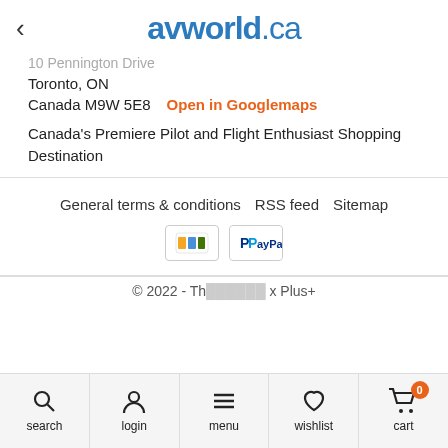avworld.ca
Toronto, ON
Canada M9W 5E8   Open in Googlemaps
Canada's Premiere Pilot and Flight Enthusiast Shopping Destination
General terms & conditions   RSS feed   Sitemap
[Figure (logo): Interac and PayPal payment icons]
© 2022 - Th... x Plus+
search   login   menu   wishlist   cart 0